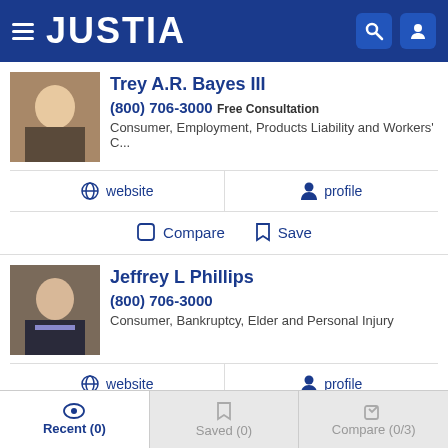JUSTIA
Trey A.R. Bayes III
(800) 706-3000 Free Consultation
Consumer, Employment, Products Liability and Workers' C...
website
profile
Compare
Save
Jeffrey L Phillips
(800) 706-3000
Consumer, Bankruptcy, Elder and Personal Injury
website
profile
Compare
Save
Recent (0)   Saved (0)   Compare (0/3)